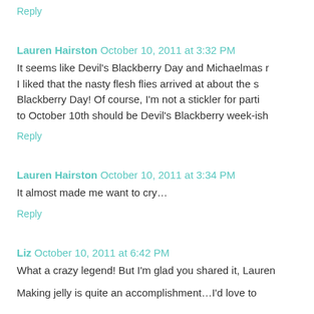Reply
Lauren Hairston  October 10, 2011 at 3:32 PM
It seems like Devil's Blackberry Day and Michaelmas r I liked that the nasty flesh flies arrived at about the s Blackberry Day! Of course, I'm not a stickler for parti to October 10th should be Devil's Blackberry week-ish
Reply
Lauren Hairston  October 10, 2011 at 3:34 PM
It almost made me want to cry…
Reply
Liz  October 10, 2011 at 6:42 PM
What a crazy legend! But I'm glad you shared it, Lauren
Making jelly is quite an accomplishment…I'd love to